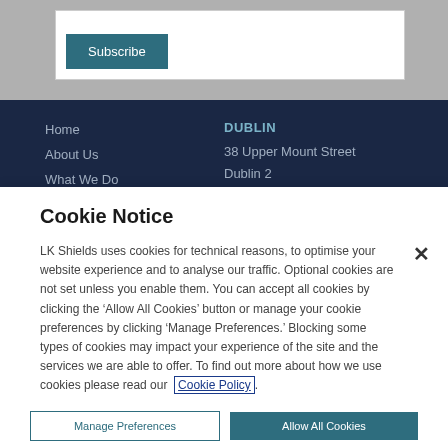[Figure (screenshot): Subscribe button inside a white form box on a gray background]
Home
About Us
What We Do
Who We Are
DUBLIN
38 Upper Mount Street
Dublin 2
Cookie Notice
LK Shields uses cookies for technical reasons, to optimise your website experience and to analyse our traffic. Optional cookies are not set unless you enable them. You can accept all cookies by clicking the ‘Allow All Cookies’ button or manage your cookie preferences by clicking ‘Manage Preferences.’ Blocking some types of cookies may impact your experience of the site and the services we are able to offer. To find out more about how we use cookies please read our Cookie Policy.